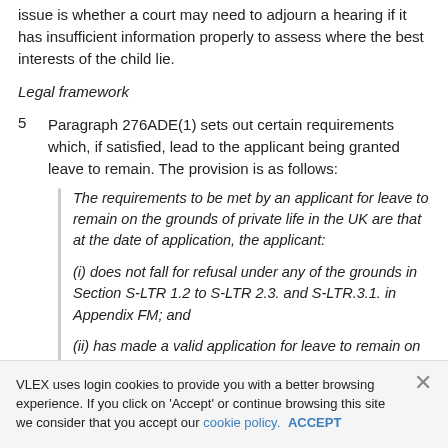issue is whether a court may need to adjourn a hearing if it has insufficient information properly to assess where the best interests of the child lie.
Legal framework
Paragraph 276ADE(1) sets out certain requirements which, if satisfied, lead to the applicant being granted leave to remain. The provision is as follows:
The requirements to be met by an applicant for leave to remain on the grounds of private life in the UK are that at the date of application, the applicant:

(i) does not fall for refusal under any of the grounds in Section S-LTR 1.2 to S-LTR 2.3. and S-LTR.3.1. in Appendix FM; and

(ii) has made a valid application for leave to remain on the grounds of private life in the UK;
VLEX uses login cookies to provide you with a better browsing experience. If you click on 'Accept' or continue browsing this site we consider that you accept our cookie policy. ACCEPT